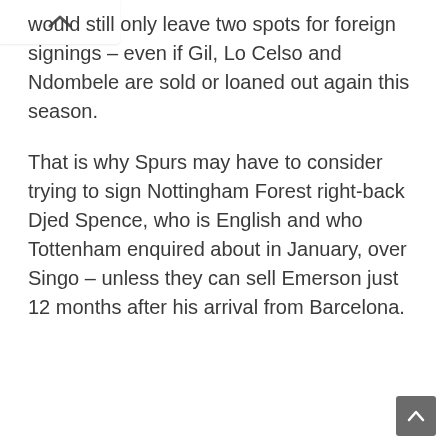would still only leave two spots for foreign signings – even if Gil, Lo Celso and Ndombele are sold or loaned out again this season.
That is why Spurs may have to consider trying to sign Nottingham Forest right-back Djed Spence, who is English and who Tottenham enquired about in January, over Singo – unless they can sell Emerson just 12 months after his arrival from Barcelona.